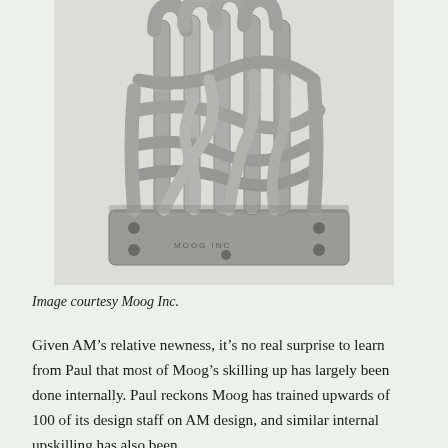[Figure (photo): A complex 3D-printed metal manifold (hydraulic or fluid component) made by Moog Inc., showing intricate curved tubing and pipe structures connected to a rectangular base plate with bolt holes. The part is gray/silver metallic in color, shown against a light background.]
Image courtesy Moog Inc.
Given AM's relative newness, it's no real surprise to learn from Paul that most of Moog's skilling up has largely been done internally. Paul reckons Moog has trained upwards of 100 of its design staff on AM design, and similar internal upskilling has also been